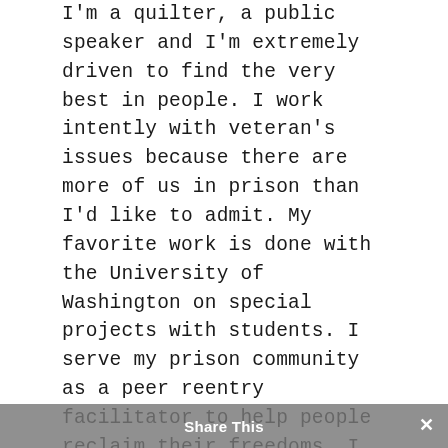I'm a quilter, a public speaker and I'm extremely driven to find the very best in people. I work intently with veteran's issues because there are more of us in prison than I'd like to admit. My favorite work is done with the University of Washington on special projects with students. I serve my prison community as a peer reentry facilitator to help people reclaim their freedoms. I love a great joke, a good book and I can cook. I like a brilliant movie and I'm into all types of music. I'm a trivia hound and I like questions. I'm sensitive and empathic and people mean the world to me. I'm a deeply social person who wants to build my network beyond prison and I want
Share This ×